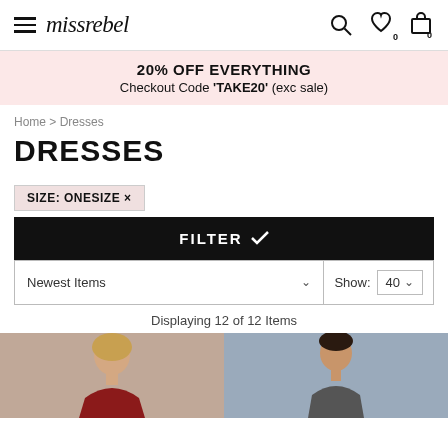missrebel — navigation header with hamburger menu, logo, search, wishlist, and cart icons
20% OFF EVERYTHING
Checkout Code 'TAKE20' (exc sale)
Home > Dresses
DRESSES
SIZE: ONESIZE ×
FILTER ✓
Newest Items ∨   Show: 40 ∨
Displaying 12 of 12 Items
[Figure (photo): Two product photos partially visible at the bottom — left shows a woman in a dark red/burgundy dress, right shows a woman in an outfit against a light grey background]